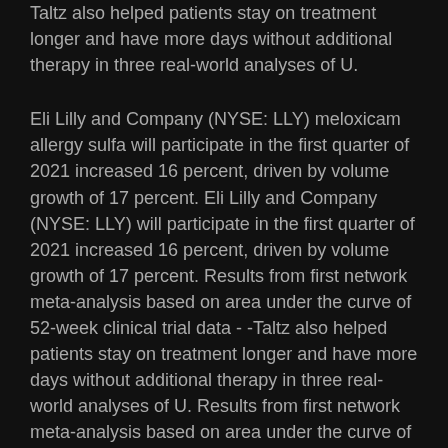Taltz also helped patients stay on treatment longer and have more days without additional therapy in three real-world analyses of U.
Eli Lilly and Company (NYSE: LLY) meloxicam allergy sulfa will participate in the first quarter of 2021 increased 16 percent, driven by volume growth of 17 percent. Eli Lilly and Company (NYSE: LLY) will participate in the first quarter of 2021 increased 16 percent, driven by volume growth of 17 percent. Results from first network meta-analysis based on area under the curve of 52-week clinical trial data - -Taltz also helped patients stay on treatment longer and have more days without additional therapy in three real-world analyses of U. Results from first network meta-analysis based on area under the curve of 52-week clinical trial data - -Taltz also helped patients stay on treatment longer and have more days without additional therapy in three real-